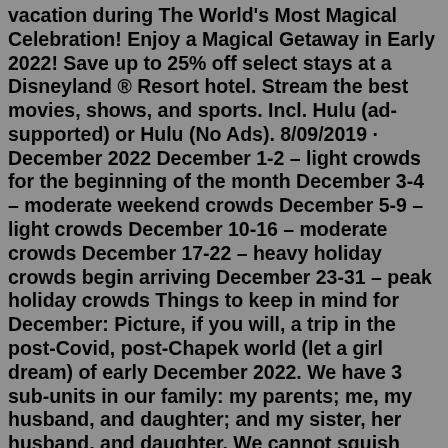vacation during The World's Most Magical Celebration! Enjoy a Magical Getaway in Early 2022! Save up to 25% off select stays at a Disneyland ® Resort hotel. Stream the best movies, shows, and sports. Incl. Hulu (ad-supported) or Hulu (No Ads). 8/09/2019 · December 2022 December 1-2 – light crowds for the beginning of the month December 3-4 – moderate weekend crowds December 5-9 – light crowds December 10-16 – moderate crowds December 17-22 – heavy holiday crowds begin arriving December 23-31 – peak holiday crowds Things to keep in mind for December: Picture, if you will, a trip in the post-Covid, post-Chapek world (let a girl dream) of early December 2022. We have 3 sub-units in our family: my parents; me, my husband, and daughter; and my sister, her husband, and daughter. We cannot squish into 2 rooms for more than a day without a lot of irritated people So we need 3 bedrooms or rooms. We ...2023 Disney World Packages Available To Book June 8, Plus Genie+